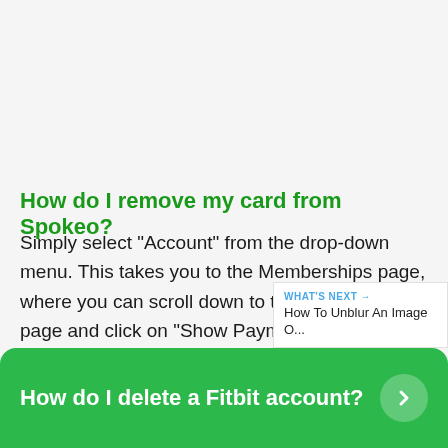How do I remove my card from Spokeo?
Simply select “Account” from the drop-down menu. This takes you to the Memberships page, where you can scroll down to the bottom of the page and click on “Show Payment Info.” You have the choice to “Update Details” by clicking on this button. Your new card information has now been saved in our sys…
WHAT’S NEXT → How To Unblur An Image O...
How do I delete a Fitbit account?